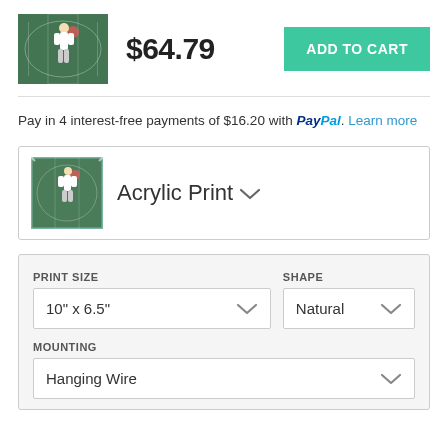[Figure (photo): Basketball game photo thumbnail showing player dunking, green court]
$64.79
ADD TO CART
Pay in 4 interest-free payments of $16.20 with PayPal. Learn more
[Figure (photo): Basketball game photo thumbnail for Acrylic Print product selector]
Acrylic Print
PRINT SIZE
10" x 6.5"
SHAPE
Natural
MOUNTING
Hanging Wire